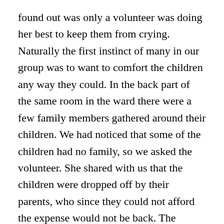found out was only a volunteer was doing her best to keep them from crying. Naturally the first instinct of many in our group was to want to comfort the children any way they could. In the back part of the same room in the ward there were a few family members gathered around their children. We had noticed that some of the children had no family, so we asked the volunteer. She shared with us that the children were dropped off by their parents, who since they could not afford the expense would not be back. The children in turn would remain at the hospital in the ward until they were fetched by the government and transferred to one of the many government-run orphanages. Looking into the eyes of one of the children in the cribs, my heart began to ache and tears welled up in my eyes. I told my wife I needed a moment and I stepped back into the open courtyard to get some air. The reality of the environment started to fill